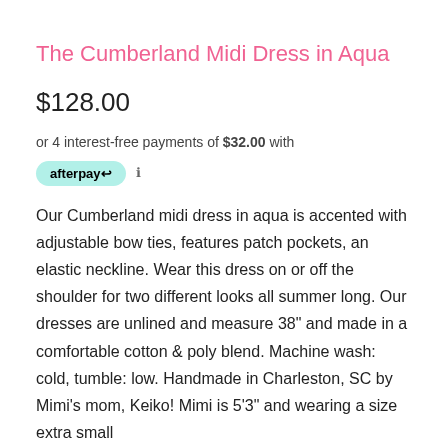The Cumberland Midi Dress in Aqua
$128.00
or 4 interest-free payments of $32.00 with afterpay ℹ
Our Cumberland midi dress in aqua is accented with adjustable bow ties, features patch pockets, an elastic neckline. Wear this dress on or off the shoulder for two different looks all summer long. Our dresses are unlined and measure 38" and made in a comfortable cotton & poly blend. Machine wash: cold, tumble: low. Handmade in Charleston, SC by Mimi's mom, Keiko! Mimi is 5'3" and wearing a size extra small